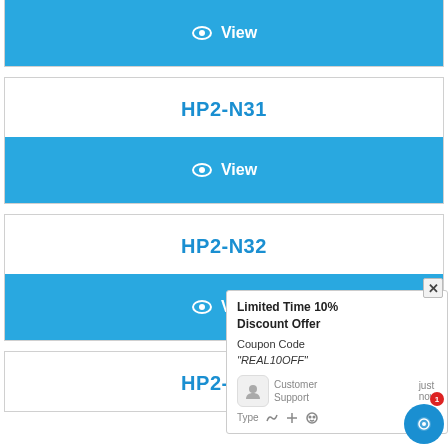[Figure (screenshot): Top partial card showing a blue View button with eye icon]
HP2-N31
[Figure (screenshot): Blue View button with eye icon for HP2-N31]
HP2-N32
[Figure (screenshot): Blue View button with eye icon for HP2-N32, partially obscured by popup]
Limited Time 10% Discount Offer Coupon Code "REAL10OFF" Customer Support just now Type
HP2-N33